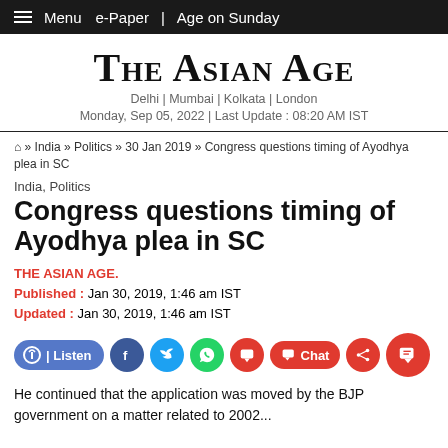Menu  e-Paper | Age on Sunday
THE ASIAN AGE
Delhi | Mumbai | Kolkata | London
Monday, Sep 05, 2022 | Last Update : 08:20 AM IST
🏠 » India » Politics » 30 Jan 2019 » Congress questions timing of Ayodhya plea in SC
India, Politics
Congress questions timing of Ayodhya plea in SC
THE ASIAN AGE.
Published : Jan 30, 2019, 1:46 am IST
Updated : Jan 30, 2019, 1:46 am IST
He continued that the application was moved by the BJP government on a matter related to 2002...